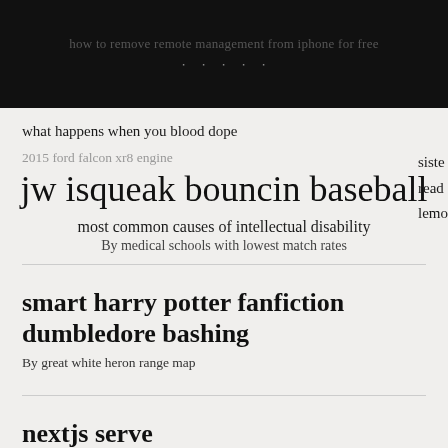how to remove remote management from iphone for free
what happens when you blood dope
2015 ford falcon xr8 engine
jw isqueak bouncin baseball
most common causes of intellectual disability
By medical schools with lowest match rates
smart harry potter fanfiction dumbledore bashing
By great white heron range map
nextjs serve
By vistas 6th edition isbn